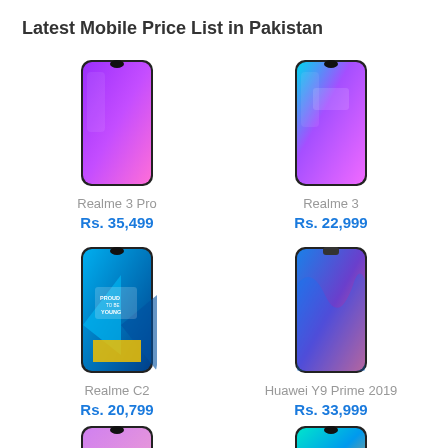Latest Mobile Price List in Pakistan
[Figure (photo): Realme 3 Pro smartphone image, purple gradient back]
Realme 3 Pro
Rs. 35,499
[Figure (photo): Realme 3 smartphone image, blue/purple gradient]
Realme 3
Rs. 22,999
[Figure (photo): Realme C2 smartphone image, geometric pattern blue/yellow]
Realme C2
Rs. 20,799
[Figure (photo): Huawei Y9 Prime 2019 smartphone image, blue wavy gradient]
Huawei Y9 Prime 2019
Rs. 33,999
[Figure (photo): Smartphone image, pink/purple gradient, partial]
[Figure (photo): Smartphone image, teal/blue gradient, partial]